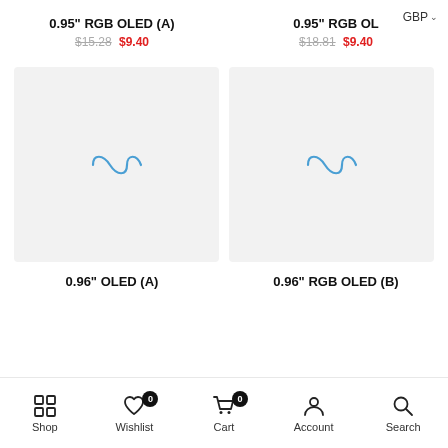0.95" RGB OLED (A) — $15.28 $9.40
0.95" RGB OL — GBP — $18.81 $9.40
[Figure (screenshot): Product image placeholder with loading spinner (S-curve icon) on light gray background — left product]
[Figure (screenshot): Product image placeholder with loading spinner (S-curve icon) on light gray background — right product]
0.96" OLED (A)
0.96" RGB OLED (B)
Shop | Wishlist (0) | Cart (0) | Account | Search